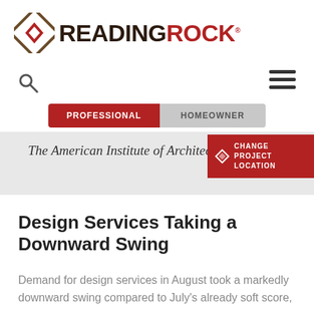[Figure (logo): Reading Rock logo with diamond-shaped icon and bold text 'READING ROCK']
[Figure (other): Search (magnifying glass) icon]
[Figure (other): Hamburger menu icon (three horizontal lines)]
PROFESSIONAL   HOMEOWNER
The American Institute of Architects
[Figure (other): CHANGE PROJECT LOCATION button with Reading Rock diamond icon]
Design Services Taking a Downward Swing
Demand for design services in August took a markedly downward swing compared to July's already soft score,